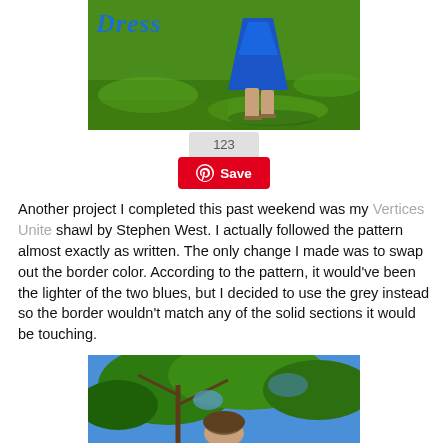[Figure (photo): Photo of a person wearing a blue dress standing on green grass, with italic blue title text 'Dress' overlaid at top left]
123
⊕ Save
Another project I completed this past weekend was my Vertices Unite shawl by Stephen West. I actually followed the pattern almost exactly as written. The only change I made was to swap out the border color. According to the pattern, it would've been the lighter of the two blues, but I decided to use the grey instead so the border wouldn't match any of the solid sections it would be touching.
[Figure (photo): Photo of a person seen from below among green tree branches against a blue sky]